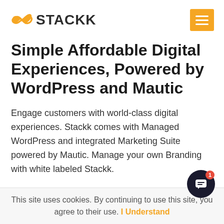STACKK logo with hamburger menu
Simple Affordable Digital Experiences, Powered by WordPress and Mautic
Engage customers with world-class digital experiences. Stackk comes with Managed WordPress and integrated Marketing Suite powered by Mautic. Manage your own Branding with white labeled Stackk.
Powered by Open Source and hosted on AWS to deliver simple, affordable and world-class digital
This site uses cookies. By continuing to use this site, you agree to their use. I Understand